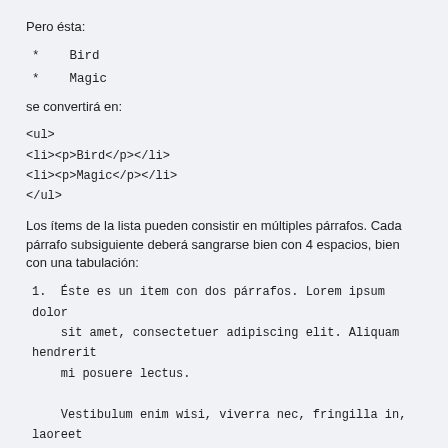Pero ésta:
*    Bird
*    Magic
se convertirá en:
<ul>
<li><p>Bird</p></li>
<li><p>Magic</p></li>
</ul>
Los ítems de la lista pueden consistir en múltiples párrafos. Cada párrafo subsiguiente deberá sangrarse bien con 4 espacios, bien con una tabulación:
1.  Éste es un item con dos párrafos. Lorem ipsum dolor
    sit amet, consectetuer adipiscing elit. Aliquam hendrerit
    mi posuere lectus.

    Vestibulum enim wisi, viverra nec, fringilla in, laoreet
    vitae, risus. Donec sit amet nisl. Aliquam semper ipsum
    sit amet velit.